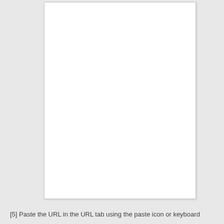[5] Paste the URL in the URL tab using the paste icon or keyboard